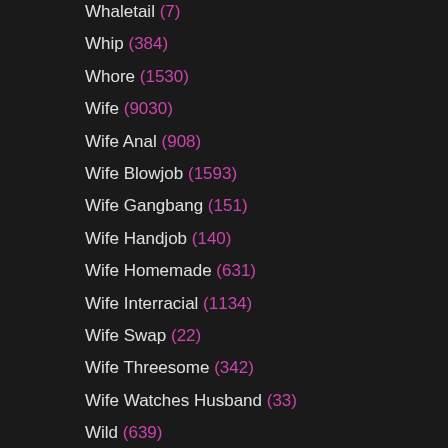Whaletail (7)
Whip (384)
Whore (1530)
Wife (9030)
Wife Anal (908)
Wife Blowjob (1593)
Wife Gangbang (151)
Wife Handjob (140)
Wife Homemade (631)
Wife Interracial (1134)
Wife Swap (22)
Wife Threesome (342)
Wife Watches Husband (33)
Wild (639)
Window (87)
Working (122)